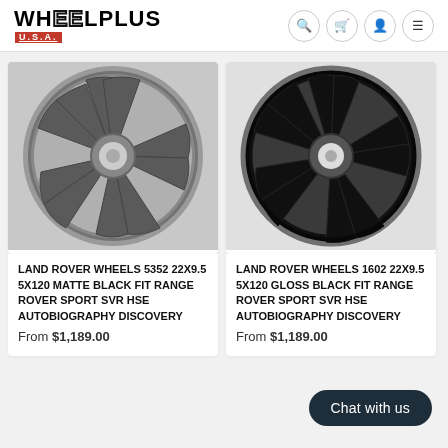WHEELPLUS U.S.A. — navigation icons: search, cart, account, menu
[Figure (photo): Matte black Land Rover alloy wheel 22x9.5 5x120, 5-spoke split design, photographed on gray background]
LAND ROVER WHEELS 5352 22X9.5 5X120 MATTE BLACK FIT RANGE ROVER SPORT SVR HSE AUTOBIOGRAPHY DISCOVERY
From $1,189.00
[Figure (photo): Gloss black Land Rover alloy wheel 22x9.5 5x120, multi-spoke split design, photographed on light background]
LAND ROVER WHEELS 1602 22X9.5 5X120 GLOSS BLACK FIT RANGE ROVER SPORT SVR HSE AUTOBIOGRAPHY DISCOVERY
From $1,189.00
Chat with us